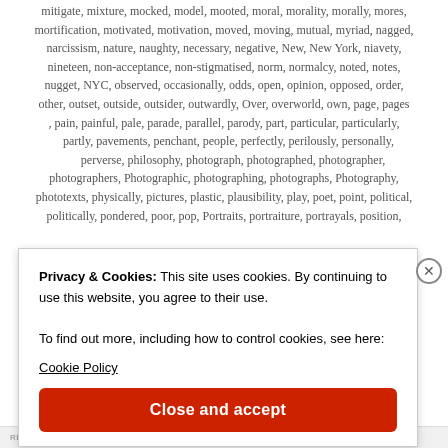mitigate, mixture, mocked, model, mooted, moral, morality, morally, mores, mortification, motivated, motivation, moved, moving, mutual, myriad, nagged, narcissism, nature, naughty, necessary, negative, New, New York, niavety, nineteen, non-acceptance, non-stigmatised, norm, normalcy, noted, notes, nugget, NYC, observed, occasionally, odds, open, opinion, opposed, order, other, outset, outside, outsider, outwardly, Over, overworld, own, page, pages, pain, painful, pale, parade, parallel, parody, part, particular, particularly, partly, pavements, penchant, people, perfectly, perilously, personally, perverse, philosophy, photograph, photographed, photographer, photographers, Photographic, photographing, photographs, Photography, phototexts, physically, pictures, plastic, plausibility, play, poet, point, political, politically, pondered, poor, pop, Portraits, portraiture, portrayals, position,
Privacy & Cookies: This site uses cookies. By continuing to use this website, you agree to their use.
To find out more, including how to control cookies, see here:
Cookie Policy
Close and accept